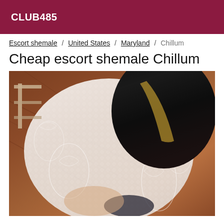CLUB485
Escort shemale / United States / Maryland / Chillum
Cheap escort shemale Chillum
[Figure (photo): Person viewed from above wearing white lace outfit, dark hair with highlights, wood floor visible in background]